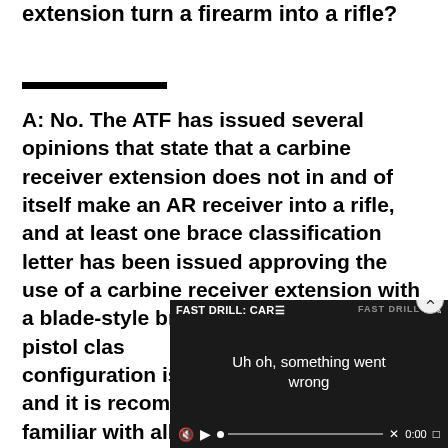extension turn a firearm into a rifle?
A: No. The ATF has issued several opinions that state that a carbine receiver extension does not in and of itself make an AR receiver into a rifle, and at least one brace classification letter has been issued approving the use of a carbine receiver extension with a blade-style brace and maintaining pistol classification. The specific configuration is what matters to the ATF, and it is recommended that owners be familiar with all fed...
[Figure (screenshot): Video player overlay showing 'FAST DRILL: CAR' title with error message 'Uh oh, something went wrong' at 0:00 with playback controls]